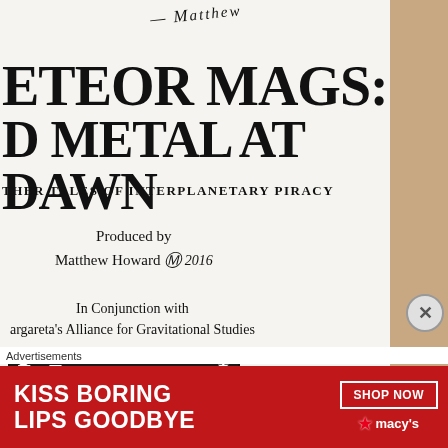[Figure (photo): Photo of a book title page showing handwritten signature 'Matthew' at top, large bold title 'METEOR MAGS: OLD METAL AT DAWN', subtitle 'AND OTHER TALES OF INTERPLANETARY PIRACY', credits 'Produced by Matthew Howard' with signature and 2016 date, 'In Conjunction with Margareta's Alliance for Gravitational Studies', and a Meteor Mags logo at bottom. A brown cardboard background is visible on the right. At the bottom of the webpage is an advertisement section reading 'Advertisements' and a red Macy's banner ad reading 'KISS BORING LIPS GOODBYE' with 'SHOP NOW' button and Macy's star logo.]
Advertisements
[Figure (photo): Red Macy's advertisement banner reading 'KISS BORING LIPS GOODBYE' with 'SHOP NOW' button and Macy's star logo, showing woman's face with red lipstick]